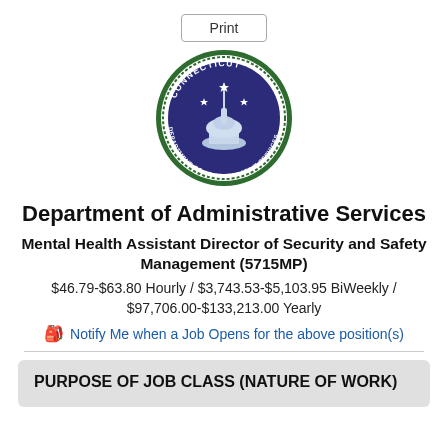Print
[Figure (logo): Connecticut Department of Administrative Services circular seal with dark blue and green colors, showing the state capitol building and stars]
Department of Administrative Services
Mental Health Assistant Director of Security and Safety Management (5715MP)
$46.79-$63.80 Hourly / $3,743.53-$5,103.95 BiWeekly / $97,706.00-$133,213.00 Yearly
Notify Me when a Job Opens for the above position(s)
PURPOSE OF JOB CLASS (NATURE OF WORK)